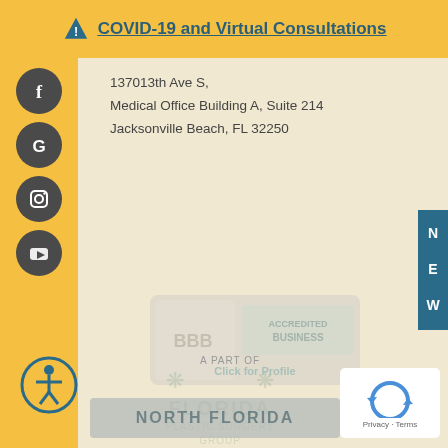COVID-19 and Virtual Consultations
137013th Ave S,
Medical Office Building A, Suite 214
Jacksonville Beach, FL 32250
[Figure (logo): BBB Accredited Business badge - Click for Profile]
[Figure (logo): Florida Plastic Surgery Group logo watermark]
[Figure (logo): Accessibility icon - circle with person symbol]
[Figure (other): Privacy - Terms reCAPTCHA badge]
A PART OF
NORTH FLORIDA